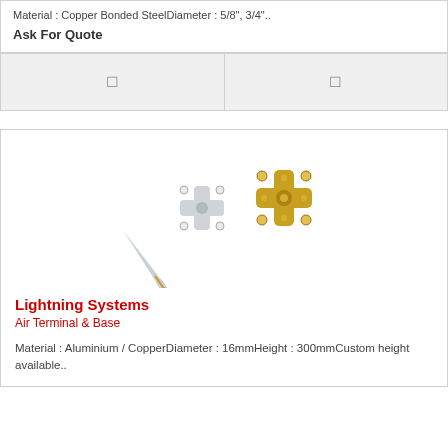Material : Copper Bonded SteelDiameter : 5/8", 3/4"..
Ask For Quote
[Figure (other): Two placeholder image cells with icons in a gray row]
[Figure (photo): Lightning rod air terminal (metal rod) and base components - one silver/chrome cross-shaped base and one gold/brass cross-shaped base]
Lightning Systems
Air Terminal & Base
Material : Aluminium / CopperDiameter : 16mmHeight : 300mmCustom height available..